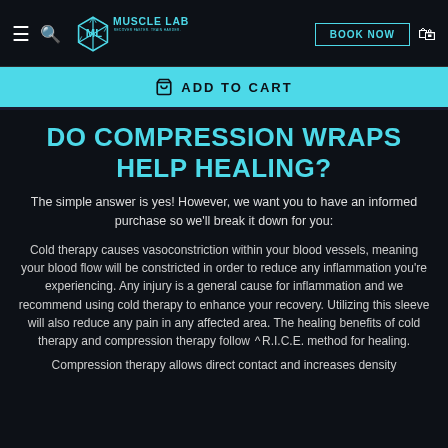MUSCLE LAB — RECOVER FASTER. TRAIN HARDER. | BOOK NOW
ADD TO CART
DO COMPRESSION WRAPS HELP HEALING?
The simple answer is yes! However, we want you to have an informed purchase so we'll break it down for you:
Cold therapy causes vasoconstriction within your blood vessels, meaning your blood flow will be constricted in order to reduce any inflammation you're experiencing. Any injury is a general cause for inflammation and we recommend using cold therapy to enhance your recovery. Utilizing this sleeve will also reduce any pain in any affected area. The healing benefits of cold therapy and compression therapy follow the R.I.C.E. method for healing.
Compression therapy allows direct contact and increases density